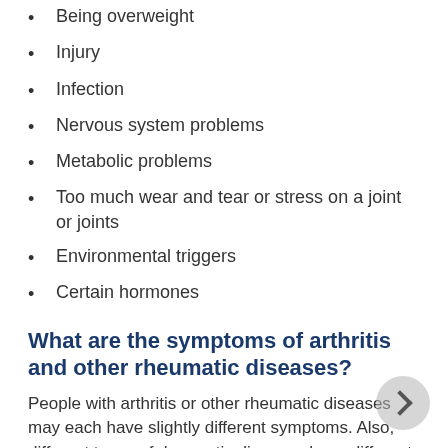Being overweight
Injury
Infection
Nervous system problems
Metabolic problems
Too much wear and tear or stress on a joint or joints
Environmental triggers
Certain hormones
What are the symptoms of arthritis and other rheumatic diseases?
People with arthritis or other rheumatic diseases may each have slightly different symptoms. Also, different types of rheumatic diseases have different symptoms. But there are some common symptoms, including...